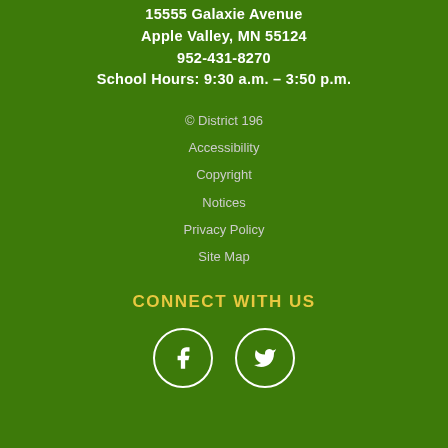15555 Galaxie Avenue
Apple Valley, MN 55124
952-431-8270
School Hours: 9:30 a.m. – 3:50 p.m.
© District 196
Accessibility
Copyright
Notices
Privacy Policy
Site Map
CONNECT WITH US
[Figure (illustration): Facebook and Twitter social media icon circles]